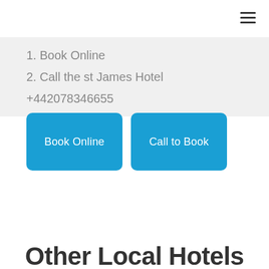[Figure (other): Hamburger menu icon (three horizontal lines) in top right corner]
1. Book Online
2. Call the st James Hotel
+442078346655
[Figure (other): Two blue rounded buttons side by side: 'Book Online' and 'Call to Book']
Other Local Hotels